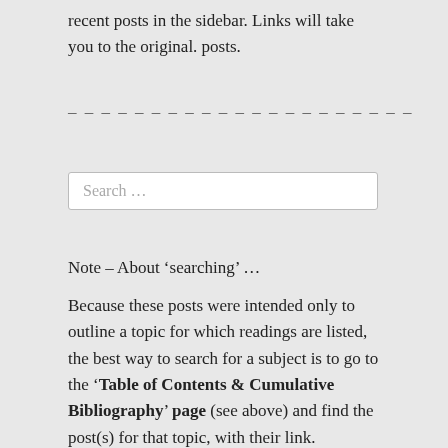recent posts in the sidebar. Links will take you to the original. posts.
--------------------
Search ...
Note – About 'searching' …
Because these posts were intended only to outline a topic for which readings are listed, the best way to search for a subject is to go to the 'Table of Contents & Cumulative Bibliography' page (see above) and find the post(s) for that topic, with their link.